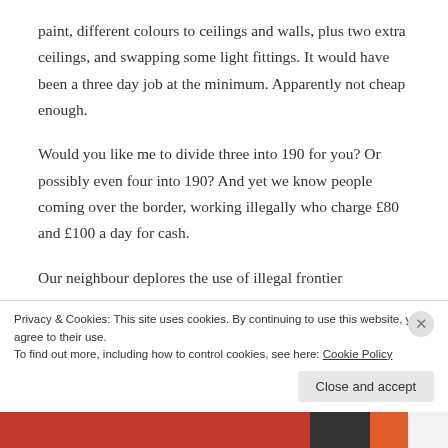paint, different colours to ceilings and walls, plus two extra ceilings, and swapping some light fittings. It would have been a three day job at the minimum. Apparently not cheap enough.
Would you like me to divide three into 190 for you? Or possibly even four into 190? And yet we know people coming over the border, working illegally who charge £80 and £100 a day for cash.
Our neighbour deplores the use of illegal frontier
Privacy & Cookies: This site uses cookies. By continuing to use this website, you agree to their use.
To find out more, including how to control cookies, see here: Cookie Policy